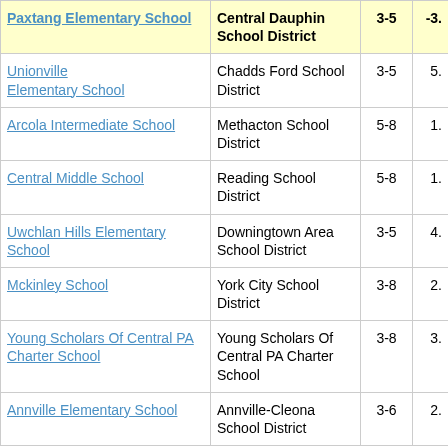| School | District | Grades | Score |
| --- | --- | --- | --- |
| Paxtang Elementary School | Central Dauphin School District | 3-5 | -3. |
| Unionville Elementary School | Chadds Ford School District | 3-5 | 5. |
| Arcola Intermediate School | Methacton School District | 5-8 | 1. |
| Central Middle School | Reading School District | 5-8 | 1. |
| Uwchlan Hills Elementary School | Downingtown Area School District | 3-5 | 4. |
| Mckinley School | York City School District | 3-8 | 2. |
| Young Scholars Of Central PA Charter School | Young Scholars Of Central PA Charter School | 3-8 | 3. |
| Annville Elementary School | Annville-Cleona School District | 3-6 | 2. |